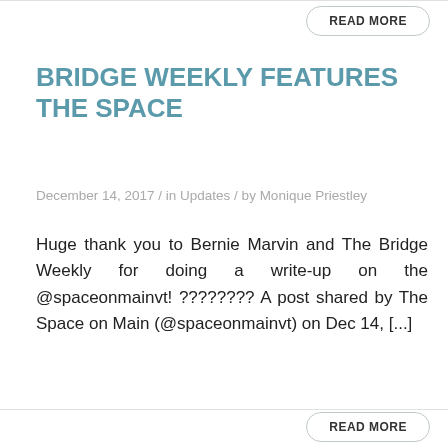READ MORE
BRIDGE WEEKLY FEATURES THE SPACE
December 14, 2017 / in Updates / by Monique Priestley
Huge thank you to Bernie Marvin and The Bridge Weekly for doing a write-up on the @spaceonmainvt! ???????? A post shared by The Space on Main (@spaceonmainvt) on Dec 14, [...]
READ MORE